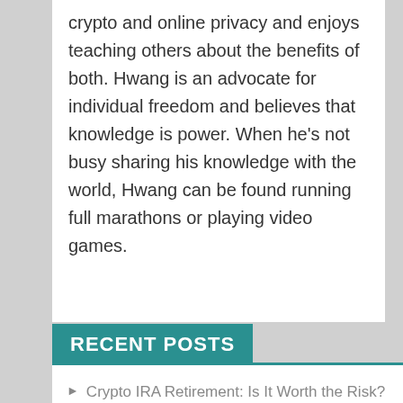crypto and online privacy and enjoys teaching others about the benefits of both. Hwang is an advocate for individual freedom and believes that knowledge is power. When he's not busy sharing his knowledge with the world, Hwang can be found running full marathons or playing video games.
RECENT POSTS
Crypto IRA Retirement: Is It Worth the Risk?